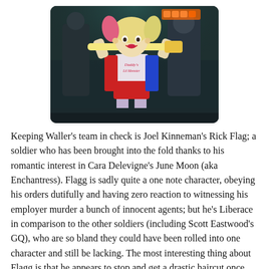[Figure (photo): Movie still of Harley Quinn (Margot Robbie) in costume holding a bat over her shoulders, from Suicide Squad, in a dark, neon-lit environment.]
Keeping Waller's team in check is Joel Kinneman's Rick Flag; a soldier who has been brought into the fold thanks to his romantic interest in Cara Delevigne's June Moon (aka Enchantress). Flagg is sadly quite a one note character, obeying his orders dutifully and having zero reaction to witnessing his employer murder a bunch of innocent agents; but he's Liberace in comparison to the other soldiers (including Scott Eastwood's GQ), who are so bland they could have been rolled into one character and still be lacking. The most interesting thing about Flagg is that he appears to stop and get a drastic haircut once the shit starts to hit the fan, although this may be explained away by the extensive reshoots and new material that make up the first act.
But, I suppose this is a film about the bad guys, and that it does